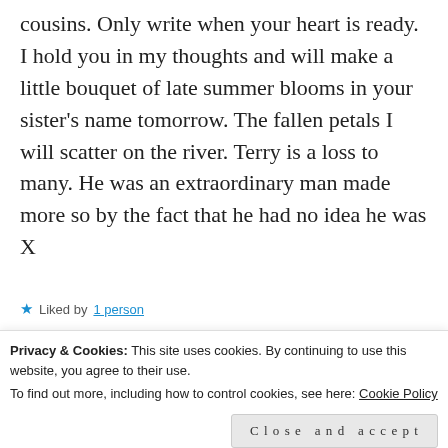cousins. Only write when your heart is ready. I hold you in my thoughts and will make a little bouquet of late summer blooms in your sister's name tomorrow. The fallen petals I will scatter on the river. Terry is a loss to many. He was an extraordinary man made more so by the fact that he had no idea he was X
Liked by 1 person
watchingthedaisies
September 1, 2017 at 6:09
Liked by 1 person
Privacy & Cookies: This site uses cookies. By continuing to use this website, you agree to their use.
To find out more, including how to control cookies, see here: Cookie Policy
Close and accept